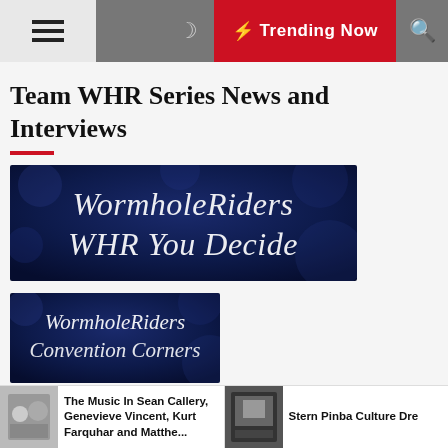≡  🌙  ⚡ Trending Now  🔍
Team WHR Series News and Interviews
[Figure (illustration): Dark blue background with italic white text reading 'WormholeRiders WHR You Decide']
[Figure (illustration): Dark blue background with italic white text reading 'WormholeRiders Convention Corners' (partially visible)]
The Music In Sean Callery, Genevieve Vincent, Kurt Farquhar and Matthe...
Stern Pinba Culture Dre